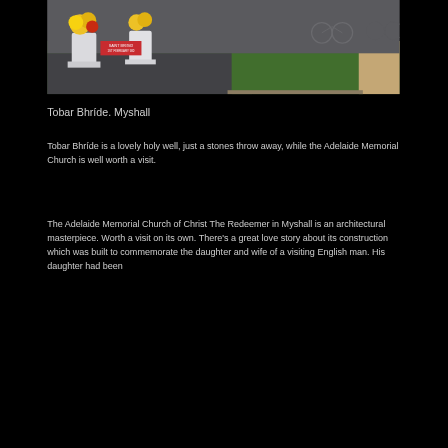[Figure (photo): Outdoor photo of a graveyard or holy well site, Saint Brigid marker visible, white flower urns with yellow and red flowers, green grass, gravel, bicycle in background, stone border]
Tobar Bhríde. Myshall
Tobar Bhríde is a lovely holy well, just a stones throw away, while the Adelaide Memorial Church is well worth a visit.
The Adelaide Memorial Church of Christ The Redeemer in Myshall is an architectural masterpiece. Worth a visit on its own. There's a great love story about its construction which was built to commemorate the daughter and wife of a visiting English man. His daughter had been